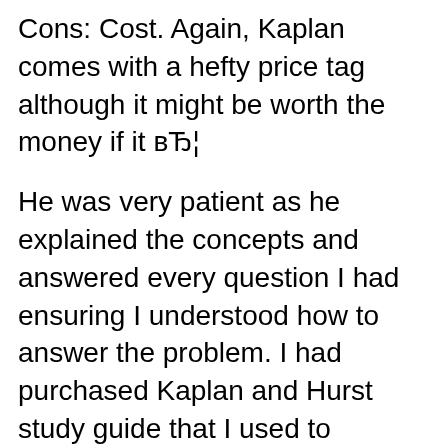Cons: Cost. Again, Kaplan comes with a hefty price tag although it might be worth the money if it в„¦
He was very patient as he explained the concepts and answered every question I had ensuring I understood how to answer the problem. I had purchased Kaplan and Hurst study guide that I used to prepare for the first two exams. That study guide didnвЂ™t prepare me nearly as much as my online tutoring sessions with David. This is well worth the money. Achetez et tГ©lГ©chargez ebook NCLEX-RN 2015-2016 Strategies, Practice, and Review with Practice Test (Kaplan NCLEX-RN Exam) (English Edition): Boutique Kindle - Nursing :